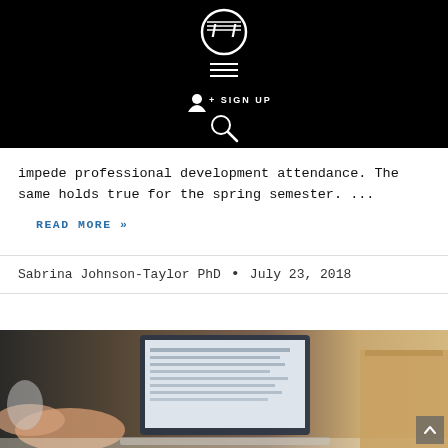[Figure (logo): Black header bar with white FF logo icon, hamburger menu lines, SIGN UP button with person icon, and search icon]
impede professional development attendance. The same holds true for the spring semester. ...
READ MORE »
Sabrina Johnson-Taylor PhD · July 23, 2018
[Figure (photo): Person's arm reaching toward a laptop keyboard; a document is visible on the laptop screen; warm toned background]